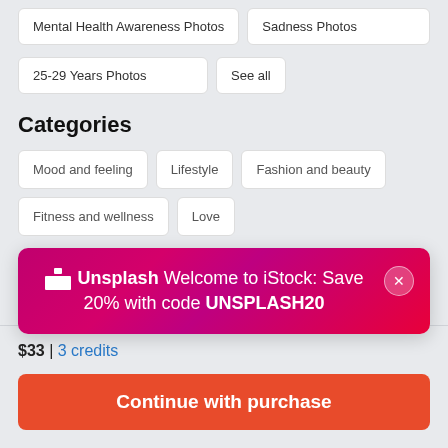Mental Health Awareness Photos
Sadness Photos
25-29 Years Photos
See all
Categories
Mood and feeling
Lifestyle
Fashion and beauty
Fitness and wellness
Love
Unsplash Welcome to iStock: Save 20% with code UNSPLASH20
$33 | 3 credits
Continue with purchase